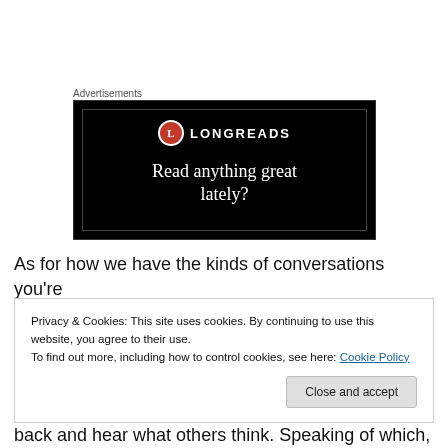Advertisements
[Figure (screenshot): Longreads advertisement banner on black background with logo and text 'Read anything great lately?']
As for how we have the kinds of conversations you're
Privacy & Cookies: This site uses cookies. By continuing to use this website, you agree to their use.
To find out more, including how to control cookies, see here: Cookie Policy
back and hear what others think. Speaking of which,